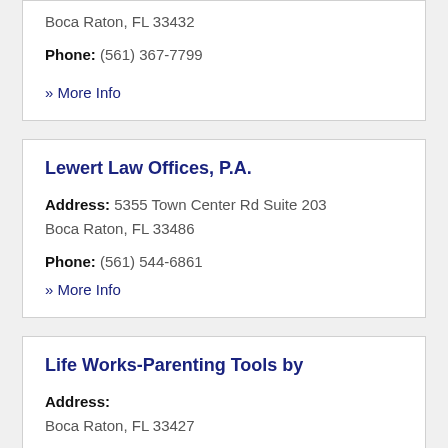Boca Raton, FL 33432
Phone: (561) 367-7799
» More Info
Lewert Law Offices, P.A.
Address: 5355 Town Center Rd Suite 203
Boca Raton, FL 33486
Phone: (561) 544-6861
» More Info
Life Works-Parenting Tools by
Address:
Boca Raton, FL 33427
Phone: (561) 488-1025